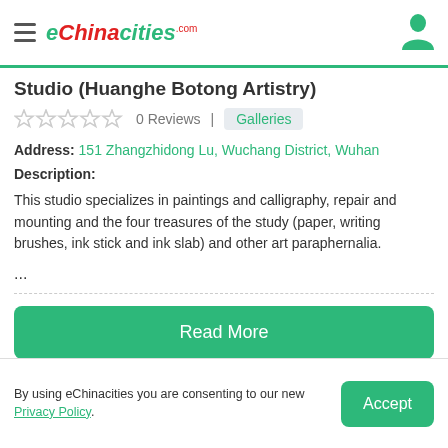eChinacities.com
Studio (Huanghe Botong Artistry)
0 Reviews | Galleries
Address: 151 Zhangzhidong Lu, Wuchang District, Wuhan
Description:
This studio specializes in paintings and calligraphy, repair and mounting and the four treasures of the study (paper, writing brushes, ink stick and ink slab) and other art paraphernalia.
...
Read More
By using eChinacities you are consenting to our new Privacy Policy.
Accept